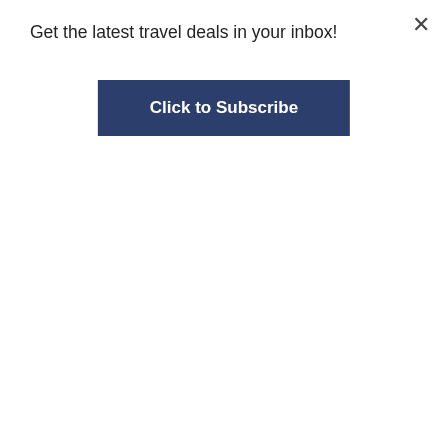Get the latest travel deals in your inbox!
Click to Subscribe
great, but the shows with the Royal singers, dancers and band were very good as was the ice show. As far as the ship itself, it is showing its age. It was supposed to be "amplified," but that was cancelled due to COVID and as far as I know has not been rescheduled. The main dining room food was hit and miss. Some dishes were very good, while some were just awful. The food in the WIndjammer buffet was OK at breakfast, but not very good for lunch. One whole section of the grill portion was closed at the busiest times. Chops and Giovani's were both excellent. All in all, we had a good time, but we much prefer the Oasis and Quantum class ships. Adventure was fine for a fine night cruise, but don't think we would sail on a Voyager class ship that has not been amplified.